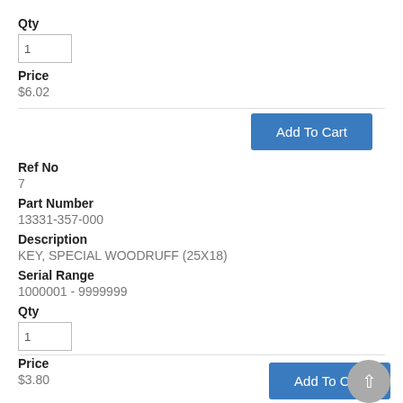Qty
1
Price
$6.02
Add To Cart
Ref No
7
Part Number
13331-357-000
Description
KEY, SPECIAL WOODRUFF (25X18)
Serial Range
1000001 - 9999999
Qty
1
Price
$3.80
Add To Cart